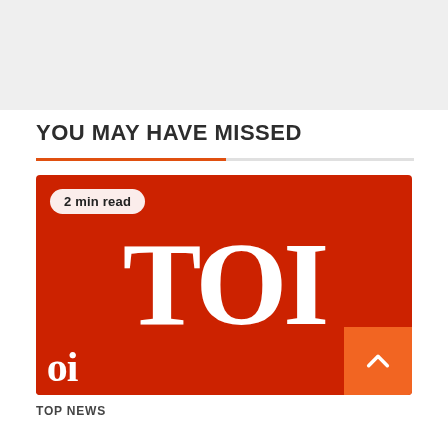YOU MAY HAVE MISSED
[Figure (logo): TOI (Times of India) logo on red background with '2 min read' badge in top-left corner]
TOP NEWS